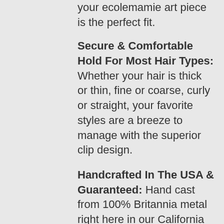your ecolemamie art piece is the perfect fit.
Secure & Comfortable Hold For Most Hair Types: Whether your hair is thick or thin, fine or coarse, curly or straight, your favorite styles are a breeze to manage with the superior clip design.
Handcrafted In The USA & Guaranteed: Hand cast from 100% Britannia metal right here in our California workshop using quality clip mechanisms. This heirloom worthy piece is jewelry for your hair.
Makes a great gift: With many sizes and styles to choose from, our hair accessories are collectible.
...